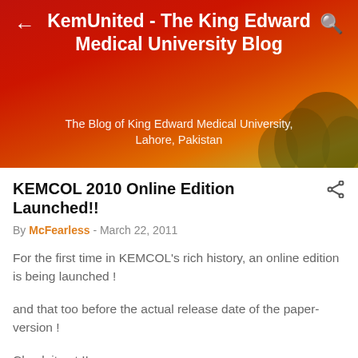KemUnited - The King Edward Medical University Blog
The Blog of King Edward Medical University, Lahore, Pakistan
KEMCOL 2010 Online Edition Launched!!
By McFearless - March 22, 2011
For the first time in KEMCOL's rich history, an online edition is being launched !
and that too before the actual release date of the paper-version !
Check it out !!